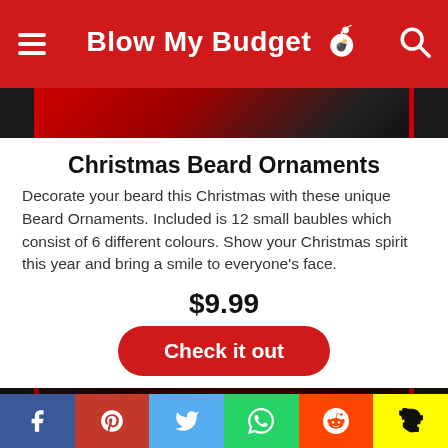Blow My Budget
[Figure (photo): Partial top view of a product photo showing red and black Christmas themed image]
Christmas Beard Ornaments
Decorate your beard this Christmas with these unique Beard Ornaments. Included is 12 small baubles which consist of 6 different colours. Show your Christmas spirit this year and bring a smile to everyone's face.
$9.99
Check it out
[Figure (photo): Partial bottom product photo showing red glowing Christmas ornaments on dark background]
f  Pinterest  Twitter  WhatsApp  Reddit  Snapchat